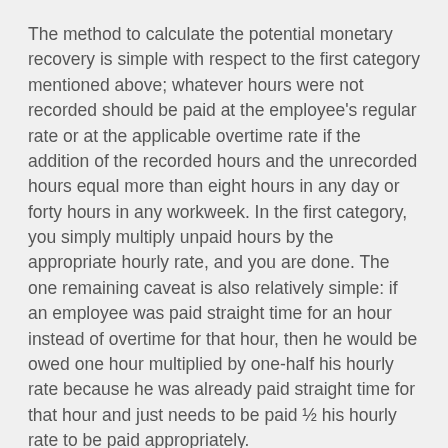The method to calculate the potential monetary recovery is simple with respect to the first category mentioned above; whatever hours were not recorded should be paid at the employee's regular rate or at the applicable overtime rate if the addition of the recorded hours and the unrecorded hours equal more than eight hours in any day or forty hours in any workweek. In the first category, you simply multiply unpaid hours by the appropriate hourly rate, and you are done. The one remaining caveat is also relatively simple: if an employee was paid straight time for an hour instead of overtime for that hour, then he would be owed one hour multiplied by one-half his hourly rate because he was already paid straight time for that hour and just needs to be paid ½ his hourly rate to be paid appropriately.
The second category requires a bit more math. Parts of the calculation are the same. You still multiply an hourly rate by a number of hours worked. But what is the hourly rate for a salaried employee? The same could be asked regarding the number of unpaid hours. California's approach to this issue is to...